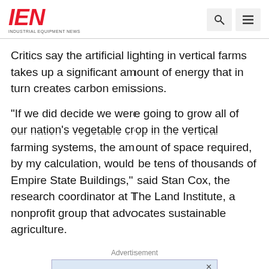IEN INDUSTRIAL EQUIPMENT NEWS
Critics say the artificial lighting in vertical farms takes up a significant amount of energy that in turn creates carbon emissions.
"If we did decide we were going to grow all of our nation's vegetable crop in the vertical farming systems, the amount of space required, by my calculation, would be tens of thousands of Empire State Buildings," said Stan Cox, the research coordinator at The Land Institute, a nonprofit group that advocates sustainable agriculture.
Advertisement
[Figure (screenshot): Advertisement banner showing 'Industrial Vacuum' text in bold blue font on a light blue background with a close button X in the top right corner.]